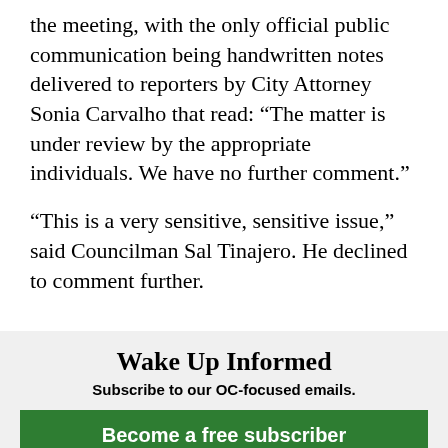the meeting, with the only official public communication being handwritten notes delivered to reporters by City Attorney Sonia Carvalho that read: “The matter is under review by the appropriate individuals. We have no further comment.”
“This is a very sensitive, sensitive issue,” said Councilman Sal Tinajero. He declined to comment further.
Wake Up Informed
Subscribe to our OC-focused emails.
Become a free subscriber
Not today